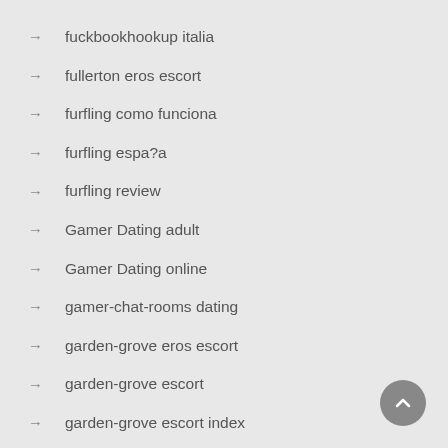→ fuckbookhookup italia
→ fullerton eros escort
→ furfling como funciona
→ furfling espa?a
→ furfling review
→ Gamer Dating adult
→ Gamer Dating online
→ gamer-chat-rooms dating
→ garden-grove eros escort
→ garden-grove escort
→ garden-grove escort index
→ garden-grove live escort review